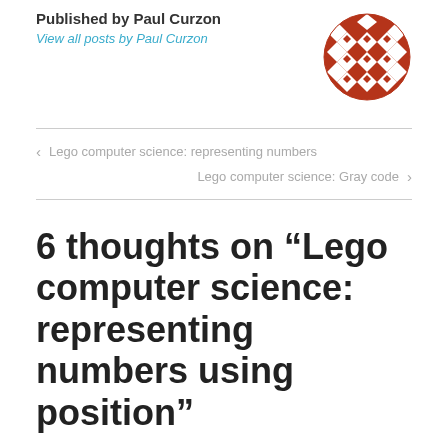Published by Paul Curzon
View all posts by Paul Curzon
[Figure (logo): Red/brown decorative geometric diamond-pattern circular logo]
< Lego computer science: representing numbers
Lego computer science: Gray code >
6 thoughts on “Lego computer science: representing numbers using position”